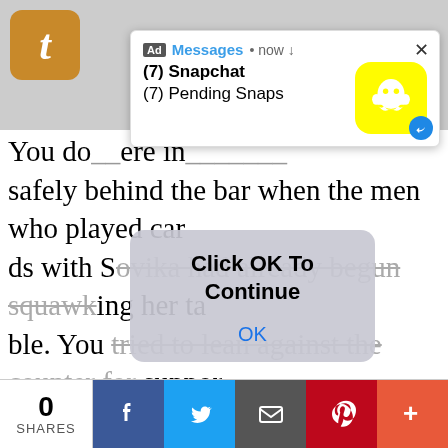[Figure (screenshot): Ad notification popup showing Snapchat: (7) Snapchat, (7) Pending Snaps with Snapchat ghost icon on yellow background]
You do... ere in... safely behind the bar when the men who played cards with Sovika had already begun squawking her table. You tried to lean against the counter for support, but Vander quietly slipped through the doors that led to his family's living quarters.
[Figure (screenshot): Modal dialog with text 'Click OK To Continue' and an OK button]
“Are you okay? What did she do to ya? Goddamnit, I knew I shouldn’t have sent you over there.” His large hands found your shoulders as soon as you passed the threshold of what appeared to be an empty common area for his kids. He examined you for any physical harm or any severe distress.
0 SHARES | Facebook | Twitter | Email | Pinterest | More